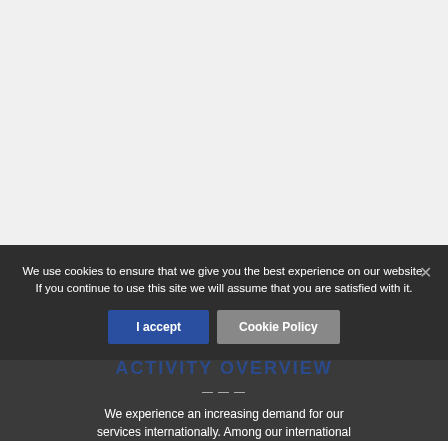[Figure (other): Gray background top area of a website screenshot]
We use cookies to ensure that we give you the best experience on our website.
If you continue to use this site we will assume that you are satisfied with it.
ACTIVITY OVERVIEW
We experience an increasing demand for our services internationally. Among our international